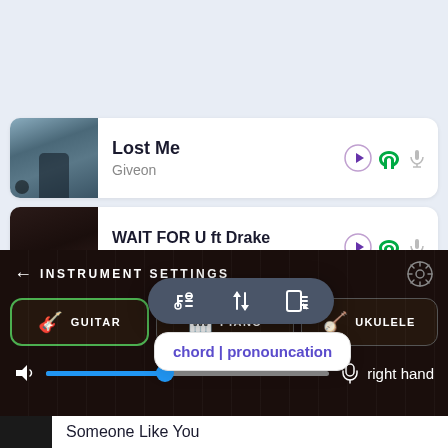[Figure (screenshot): Music app UI showing a song list with 'Lost Me' by Giveon, 'WAIT FOR U ft Drake' by Future, 'Words ft Zara Larsson' by Alec, with floating toolbar showing sort/filter icons and a chord/pronunciation popup, plus an instrument settings panel at the bottom with Guitar, Piano, Ukulele options, volume slider, and right hand label]
Lost Me
Giveon
WAIT FOR U ft Drake
Future
Words ft Zara Larsson
chord | pronouncation
INSTRUMENT SETTINGS
GUITAR
PIANO
UKULELE
right hand
Someone Like You